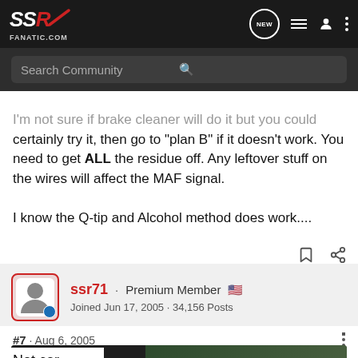SSR FANATIC.COM — Search Community
certainly try it, then go to "plan B" if it doesn't work. You need to get ALL the residue off. Any leftover stuff on the wires will affect the MAF signal.

I know the Q-tip and Alcohol method does work....
ssr71 · Premium Member  Joined Jun 17, 2005 · 34,156 Posts
#7 · Aug 6, 2005
Not car...
[Figure (screenshot): Advertisement banner for THE NEW 2022 SILVERADO by Chevrolet with Explore button and truck image]